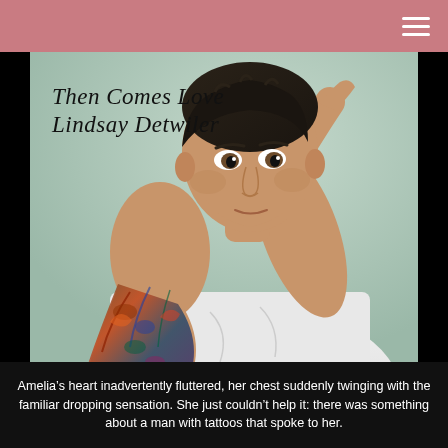[Figure (photo): Book cover image for 'Then Comes Love' by Lindsay Detwiler, showing a young man with dark short hair and a heavily tattooed arm wearing a white t-shirt, photographed against a pale green background. The book title and author name are displayed in cursive script in the upper-left corner of the cover image.]
Amelia’s heart inadvertently fluttered, her chest suddenly twinging with the familiar dropping sensation. She just couldn’t help it: there was something about a man with tattoos that spoke to her.